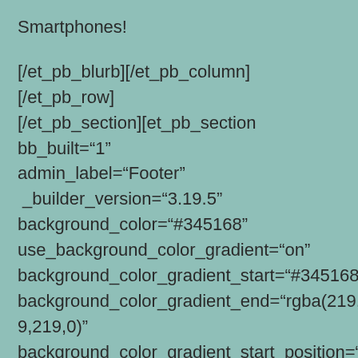Smartphones!

[/et_pb_blurb][/et_pb_column][/et_pb_row][/et_pb_section][et_pb_section bb_built="1" admin_label="Footer" _builder_version="3.19.5" background_color="#345168" use_background_color_gradient="on" background_color_gradient_start="#345168" background_color_gradient_end="rgba(219,219,219,0)" background_color_gradient_start_position="5%" background_color_gradient_overlays_image="